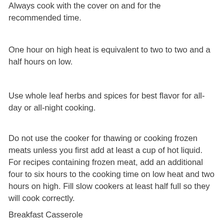Always cook with the cover on and for the recommended time.
One hour on high heat is equivalent to two to two and a half hours on low.
Use whole leaf herbs and spices for best flavor for all-day or all-night cooking.
Do not use the cooker for thawing or cooking frozen meats unless you first add at least a cup of hot liquid. For recipes containing frozen meat, add an additional four to six hours to the cooking time on low heat and two hours on high. Fill slow cookers at least half full so they will cook correctly.
Breakfast Casserole